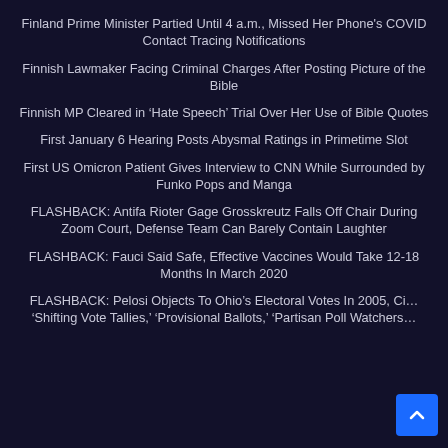Finland Prime Minister Partied Until 4 a.m., Missed Her Phone's COVID Contact Tracing Notifications
Finnish Lawmaker Facing Criminal Charges After Posting Picture of the Bible
Finnish MP Cleared in ‘Hate Speech’ Trial Over Her Use of Bible Quotes
First January 6 Hearing Posts Abysmal Ratings in Primetime Slot
First US Omicron Patient Gives Interview to CNN While Surrounded by Funko Pops and Manga
FLASHBACK: Antifa Rioter Gage Grosskreutz Falls Off Chair During Zoom Court, Defense Team Can Barely Contain Laughter
FLASHBACK: Fauci Said Safe, Effective Vaccines Would Take 12-18 Months In March 2020
FLASHBACK: Pelosi Objects To Ohio’s Electoral Votes In 2005, Cit… ‘Shifting Vote Tallies,’ ‘Provisional Ballots,’ ‘Partisan Poll Watchers…